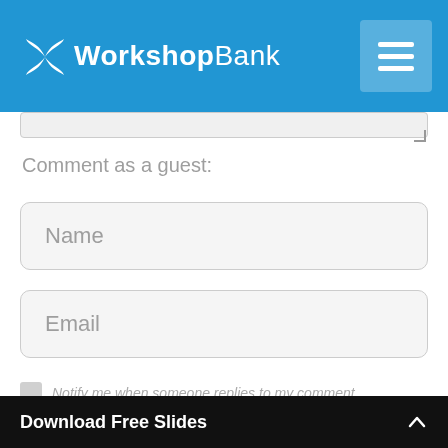WorkshopBank
Comment as a guest:
Name
Email
Notify me when someone replies to my comment
Submit comment
Download Free Slides